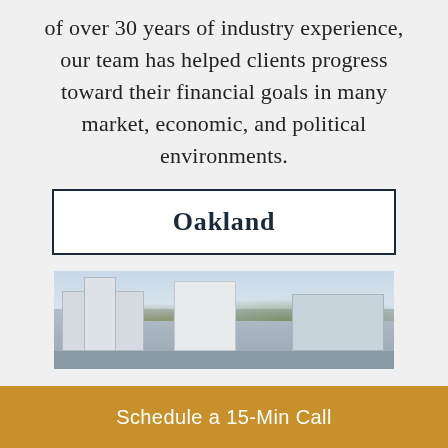of over 30 years of industry experience, our team has helped clients progress toward their financial goals in many market, economic, and political environments.
Oakland
[Figure (photo): Photo of Oakland cityscape showing buildings and hills in the background]
Schedule a 15-Min Call